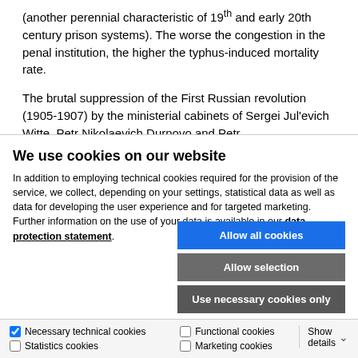(another perennial characteristic of 19th and early 20th century prison systems). The worse the congestion in the penal institution, the higher the typhus-induced mortality rate.
The brutal suppression of the First Russian revolution (1905-1907) by the ministerial cabinets of Sergei Jul'evich Witte, Petr Nikolaevich Durnovo and Petr
We use cookies on our website
In addition to employing technical cookies required for the provision of the service, we collect, depending on your settings, statistical data as well as data for developing the user experience and for targeted marketing. Further information on the use of your data is available in our data protection statement.
Allow all cookies
Allow selection
Use necessary cookies only
Necessary technical cookies  Functional cookies  Statistics cookies  Marketing cookies  Show details